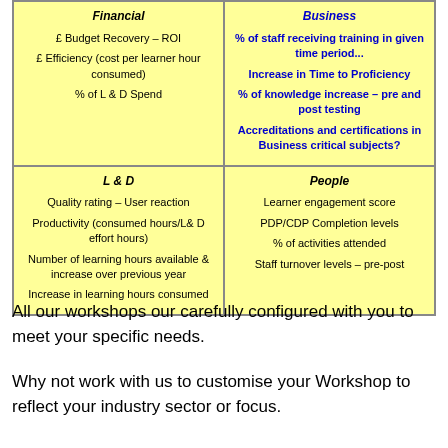| Financial | Business |
| --- | --- |
| £ Budget Recovery – ROI
£ Efficiency (cost per learner hour consumed)
% of L & D Spend | % of staff receiving training in given time period...
Increase in Time to Proficiency
% of knowledge increase – pre and post testing
Accreditations and certifications in Business critical subjects? |
| L & D
Quality rating – User reaction
Productivity (consumed hours/L& D effort hours)
Number of learning hours available & increase over previous year
Increase in learning hours consumed | People
Learner engagement score
PDP/CDP Completion levels
% of activities attended
Staff turnover levels – pre-post |
All our workshops our carefully configured with you to meet your specific needs.
Why not work with us to customise your Workshop to reflect your industry sector or focus.